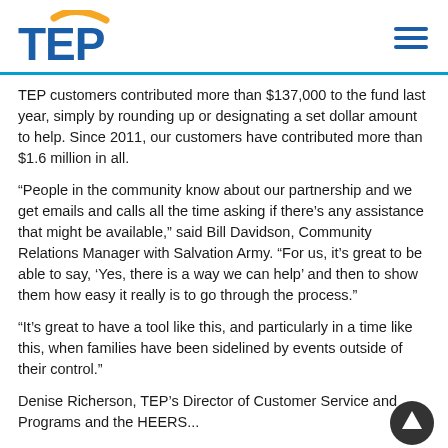TEP
TEP customers contributed more than $137,000 to the fund last year, simply by rounding up or designating a set dollar amount to help. Since 2011, our customers have contributed more than $1.6 million in all.
“People in the community know about our partnership and we get emails and calls all the time asking if there’s any assistance that might be available,” said Bill Davidson, Community Relations Manager with Salvation Army. “For us, it’s great to be able to say, ‘Yes, there is a way we can help’ and then to show them how easy it really is to go through the process.”
“It’s great to have a tool like this, and particularly in a time like this, when families have been sidelined by events outside of their control.”
Denise Richerson, TEP’s Director of Customer Service and Programs and the HEERS...